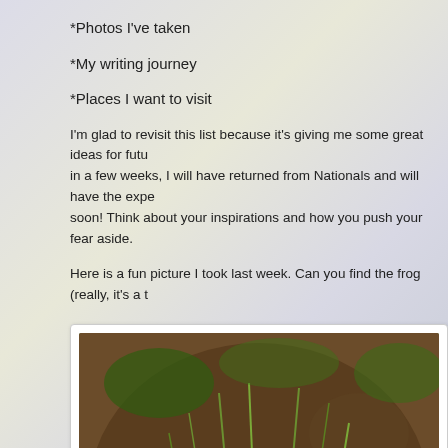*Photos I've taken
*My writing journey
*Places I want to visit
I'm glad to revisit this list because it's giving me some great ideas for futu… in a few weeks, I will have returned from Nationals and will have the expe… soon! Think about your inspirations and how you push your fear aside.
Here is a fun picture I took last week. Can you find the frog (really, it's a t…
[Figure (photo): A nature photo showing ground cover with green plants, grass, leaves, and mulch/soil. A frog or toad is camouflaged among the vegetation.]
......................................................................................